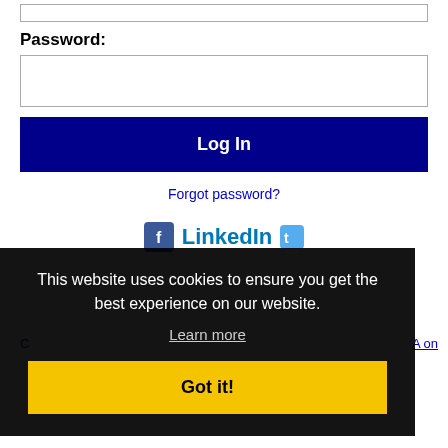[empty input box at top]
Password:
[password input box]
Log In
Forgot password?
[Figure (logo): LinkedIn logo with Facebook icon and Twitter icon]
This website uses cookies to ensure you get the best experience on our website.
Learn more
Got it!